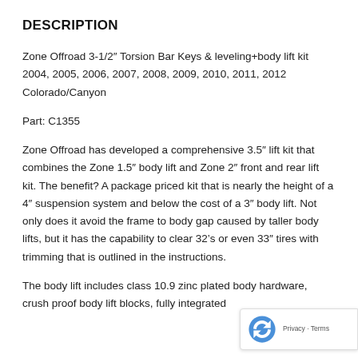DESCRIPTION
Zone Offroad 3-1/2" Torsion Bar Keys & leveling+body lift kit  2004, 2005, 2006, 2007, 2008, 2009, 2010, 2011, 2012 Colorado/Canyon
Part: C1355
Zone Offroad has developed a comprehensive 3.5" lift kit that combines the Zone 1.5" body lift and Zone 2" front and rear lift kit. The benefit? A package priced kit that is nearly the height of a 4" suspension system and below the cost of a 3" body lift. Not only does it avoid the frame to body gap caused by taller body lifts, but it has the capability to clear 32's or even 33" tires with trimming that is outlined in the instructions.
The body lift includes class 10.9 zinc plated body hardware, crush proof body lift blocks, fully integrated